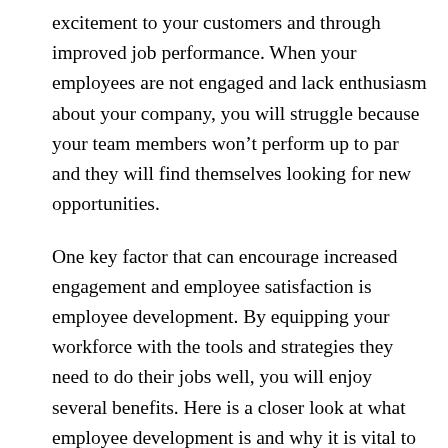excitement to your customers and through improved job performance. When your employees are not engaged and lack enthusiasm about your company, you will struggle because your team members won't perform up to par and they will find themselves looking for new opportunities.
One key factor that can encourage increased engagement and employee satisfaction is employee development. By equipping your workforce with the tools and strategies they need to do their jobs well, you will enjoy several benefits. Here is a closer look at what employee development is and why it is vital to the overall success of your business.
What Is Employee Development?
Employee development is a catchphrase in the work